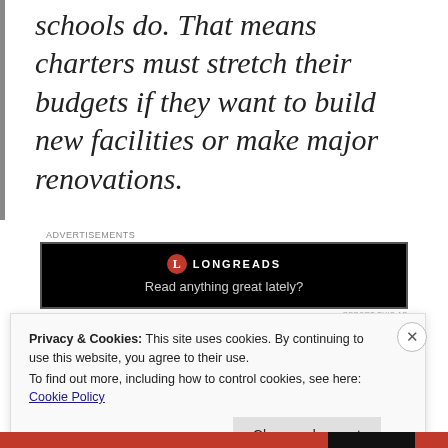schools do. That means charters must stretch their budgets if they want to build new facilities or make major renovations.
[Figure (other): Longreads advertisement banner with black background, red circular logo with 'L', text 'LONGREADS' and tagline 'Read anything great lately?']
Privacy & Cookies: This site uses cookies. By continuing to use this website, you agree to their use. To find out more, including how to control cookies, see here: Cookie Policy